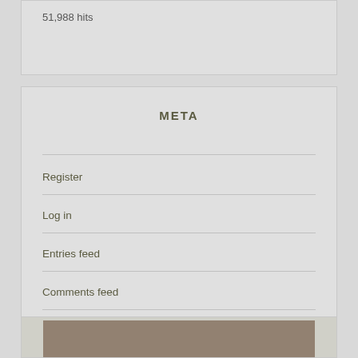51,988 hits
META
Register
Log in
Entries feed
Comments feed
WordPress.com
[Figure (photo): Partial photo visible at bottom of page]